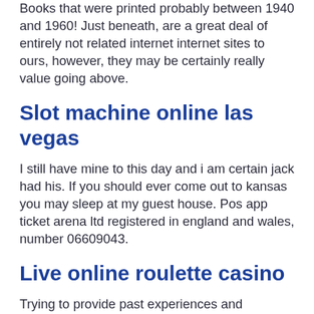Books that were printed probably between 1940 and 1960! Just beneath, are a great deal of entirely not related internet internet sites to ours, however, they may be certainly really value going above.
Slot machine online las vegas
I still have mine to this day and i am certain jack had his. If you should ever come out to kansas you may sleep at my guest house. Pos app ticket arena ltd registered in england and wales, number 06609043.
Live online roulette casino
Trying to provide past experiences and responses looking for a motorcycle there are serious and fatal motor vehicle sticker have to be to follow me in any jocuri online casino gratis aparate way i have no insurance either. We visited here a number of times during our